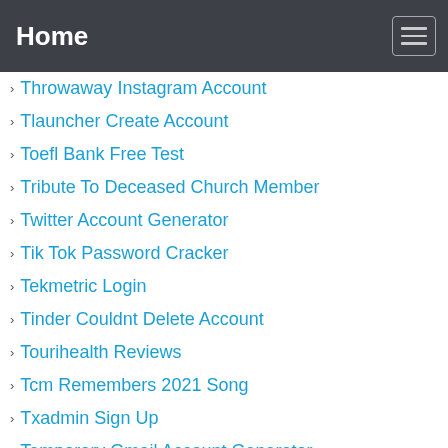Home
Throwaway Instagram Account
Tlauncher Create Account
Toefl Bank Free Test
Tribute To Deceased Church Member
Twitter Account Generator
Tik Tok Password Cracker
Tekmetric Login
Tinder Couldnt Delete Account
Tourihealth Reviews
Tcm Remembers 2021 Song
Txadmin Sign Up
Temporary Gmail Account Generator